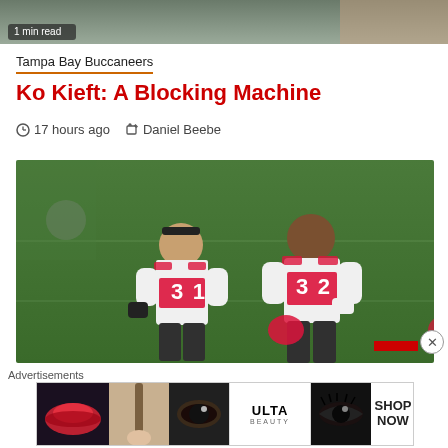[Figure (photo): Partial top image with '1 min read' tag overlay, appears to be a sports article thumbnail]
Tampa Bay Buccaneers
Ko Kieft: A Blocking Machine
17 hours ago  Daniel Beebe
[Figure (photo): Two Tampa Bay Buccaneers players in white jerseys with numbers 31 and 32 walking on a green football field, smiling]
Advertisements
[Figure (photo): Advertisement banner for Ulta Beauty showing makeup/cosmetics imagery with SHOP NOW call-to-action]